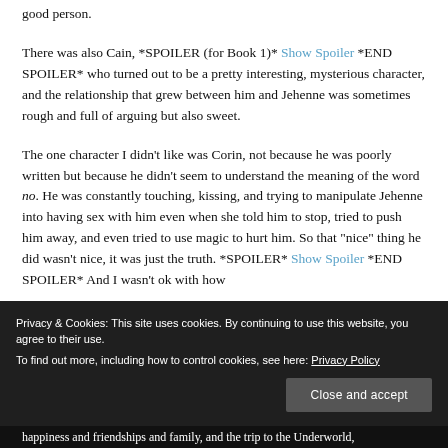good person.
There was also Cain, *SPOILER (for Book 1)* Show Spoiler *END SPOILER* who turned out to be a pretty interesting, mysterious character, and the relationship that grew between him and Jehenne was sometimes rough and full of arguing but also sweet.
The one character I didn't like was Corin, not because he was poorly written but because he didn't seem to understand the meaning of the word no. He was constantly touching, kissing, and trying to manipulate Jehenne into having sex with him even when she told him to stop, tried to push him away, and even tried to use magic to hurt him. So that "nice" thing he did wasn't nice, it was just the truth. *SPOILER* Show Spoiler *END SPOILER* And I wasn't ok with how
happiness and friendships and family, and the trip to the Underworld,
Privacy & Cookies: This site uses cookies. By continuing to use this website, you agree to their use.
To find out more, including how to control cookies, see here: Privacy Policy